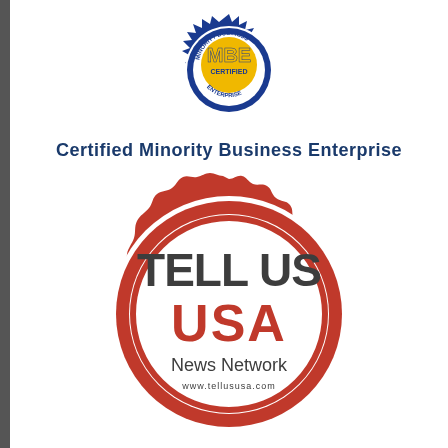[Figure (logo): MBE Certified - Minority Business Enterprise badge/seal with blue border, gold star burst, blue and gold colors with text 'MBE CERTIFIED' and 'MINORITY BUSINESS ENTERPRISE' around it]
Certified Minority Business Enterprise
[Figure (logo): Tell Us USA News Network red seal/stamp logo with scalloped red border, inner white circle with dark red ring, bold dark gray text 'TELL US USA' and below it 'News Network' and 'www.tellususa.com']